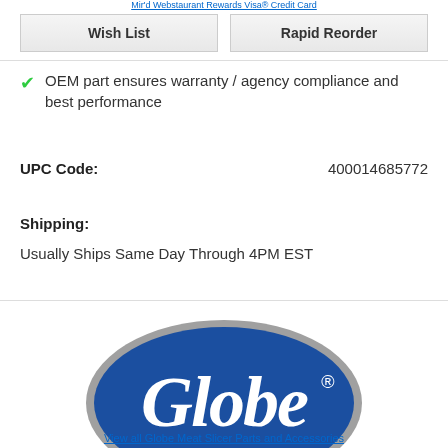Mir'd Webstaurant Rewards Visa® Credit Card
Wish List
Rapid Reorder
OEM part ensures warranty / agency compliance and best performance
UPC Code: 400014685772
Shipping:
Usually Ships Same Day Through 4PM EST
[Figure (logo): Globe brand logo — white script text 'Globe' with registered trademark symbol on a dark blue oval with gray border]